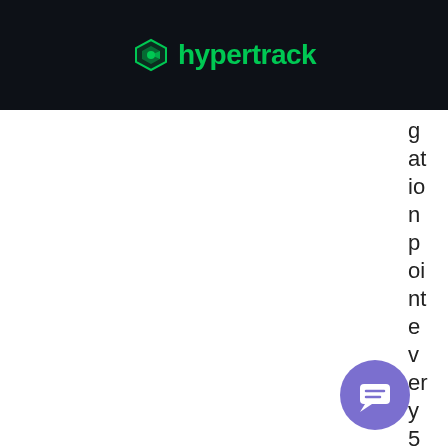hypertrack
g at io n p oi nt e v er y 5 s
[Figure (illustration): Purple circular chat bubble / support widget button in lower right corner]